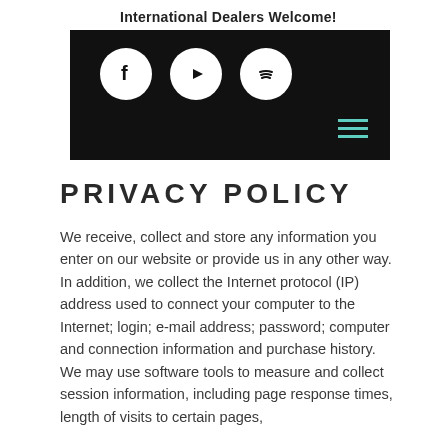International Dealers Welcome!
[Figure (screenshot): Black banner with three social media icons (Facebook, YouTube, Spotify) as white circles on black background, and a teal hamburger menu icon in the bottom-right corner]
PRIVACY POLICY
We receive, collect and store any information you enter on our website or provide us in any other way. In addition, we collect the Internet protocol (IP) address used to connect your computer to the Internet; login; e-mail address; password; computer and connection information and purchase history. We may use software tools to measure and collect session information, including page response times, length of visits to certain pages,